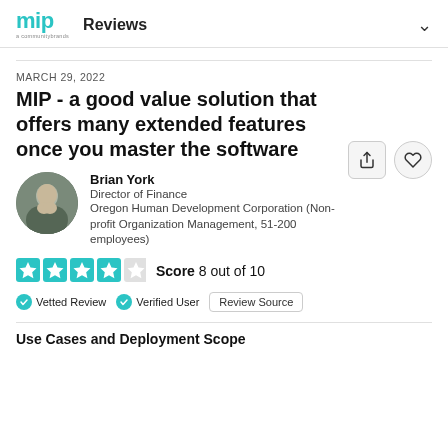mip Reviews
MARCH 29, 2022
MIP - a good value solution that offers many extended features once you master the software
Brian York
Director of Finance
Oregon Human Development Corporation (Non-profit Organization Management, 51-200 employees)
Score 8 out of 10
Vetted Review   Verified User   Review Source
Use Cases and Deployment Scope